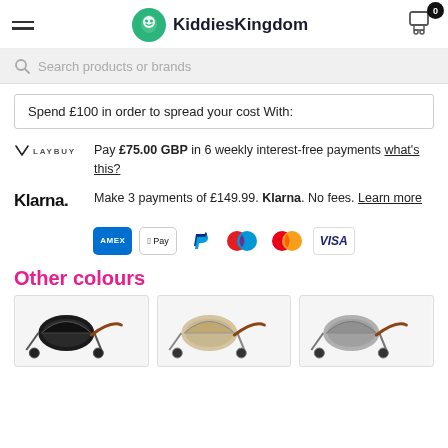KiddiesKingdom
Search products or brands
Spend £100 in order to spread your cost With:
Pay £75.00 GBP in 6 weekly interest-free payments what's this?
Make 3 payments of £149.99. Klarna. No fees. Learn more
[Figure (infographic): Payment method icons: Amex, Apple Pay, PayPal, Maestro, Mastercard, Visa]
Other colours
[Figure (photo): Three baby pram/stroller colour variants shown in small thumbnail images]